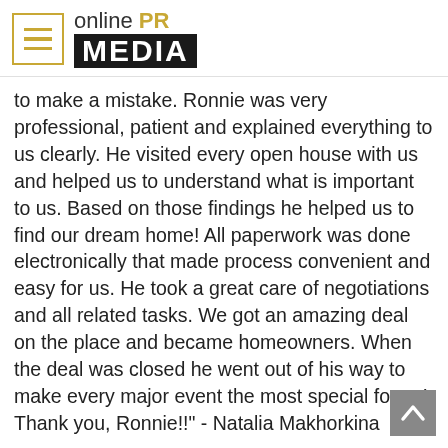[Figure (logo): Online PR Media logo with hamburger menu icon on left, 'online PR MEDIA' text on right where PR is in gold and MEDIA is in white on black background]
to make a mistake. Ronnie was very professional, patient and explained everything to us clearly. He visited every open house with us and helped us to understand what is important to us. Based on those findings he helped us to find our dream home! All paperwork was done electronically that made process convenient and easy for us. He took a great care of negotiations and all related tasks. We got an amazing deal on the place and became homeowners. When the deal was closed he went out of his way to make every major event the most special for us! Thank you, Ronnie!!" - Natalia Makhorkina